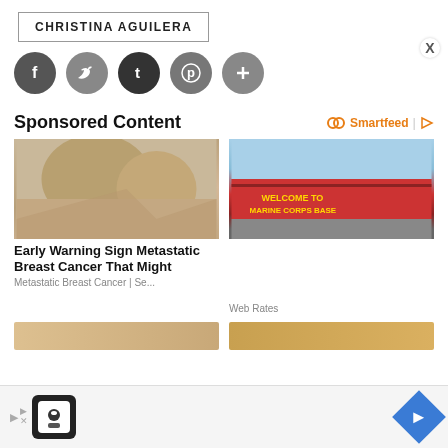CHRISTINA AGUILERA
[Figure (infographic): Social media share buttons row: Facebook, Twitter, Tumblr, Pinterest, Plus icons as dark gray circles]
Sponsored Content
[Figure (infographic): Smartfeed logo and icon with infinity symbol in orange]
[Figure (photo): Woman in gray tank top touching her chest - breast cancer awareness ad]
[Figure (photo): Welcome to Marine Corps Base sign in red with gold lettering]
Early Warning Sign Metastatic Breast Cancer That Might
Metastatic Breast Cancer | Se...
Web Rates
[Figure (infographic): Ad banner at bottom with play button, logo box with chef icon, and blue navigation diamond arrow]